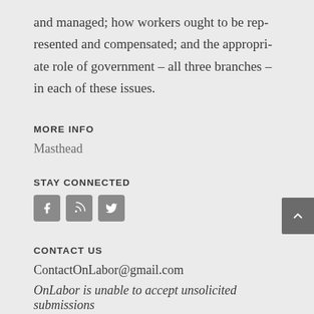and managed; how workers ought to be represented and compensated; and the appropriate role of government – all three branches – in each of these issues.
MORE INFO
Masthead
STAY CONNECTED
[Figure (other): Social media icon buttons for Facebook, RSS feed, and Twitter]
CONTACT US
ContactOnLabor@gmail.com
OnLabor is unable to accept unsolicited submissions